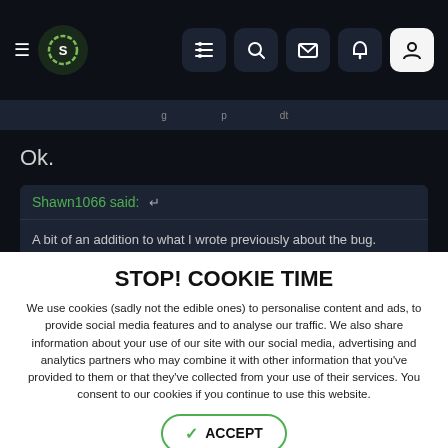[Figure (screenshot): Dark themed website navigation bar with hamburger menu, logo, and icon buttons for list, search, mail, notifications, and profile]
Ok.
Shawn1066 said: ↩
A bit of an addition to what I wrote previously about the bug.

I was the Cassandrian Kingdom today and was chipping away at the
STOP! COOKIE TIME
We use cookies (sadly not the edible ones) to personalise content and ads, to provide social media features and to analyse our traffic. We also share information about your use of our site with our social media, advertising and analytics partners who may combine it with other information that you've provided to them or that they've collected from your use of their services. You consent to our cookies if you continue to use this website.
✓ ACCEPT